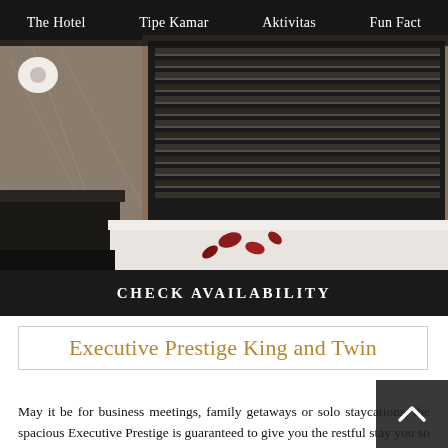The Hotel | Tipe Kamar | Aktivitas | Fun Fact
[Figure (photo): Hotel bathroom with marble surfaces, bathtub with rose petals, and venetian blind window]
CHECK AVAILABILITY
Executive Prestige King and Twin
May it be for business meetings, family getaways or solo staycations, the spacious Executive Prestige is guaranteed to give you the restful stay you so deserve. For this room category, you can choose between a king sized bed or two double beds. Either option, the beds are decked in the finest sheets to give you utmost comfort and relaxation. Unlike the